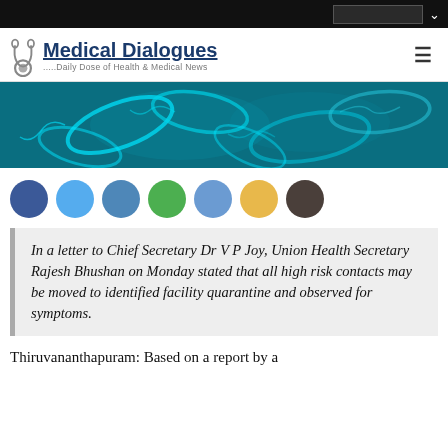Medical Dialogues — Daily Dose of Health & Medical News
[Figure (photo): Teal/cyan microscopic bacteria or virus illustration on dark background — banner image]
[Figure (infographic): Seven social media share/action buttons as colored circles: dark blue (Facebook), light blue (Twitter), medium blue, green, blue, yellow/gold, dark brown/grey]
In a letter to Chief Secretary Dr V P Joy, Union Health Secretary Rajesh Bhushan on Monday stated that all high risk contacts may be moved to identified facility quarantine and observed for symptoms.
Thiruvananthapuram: Based on a report by a